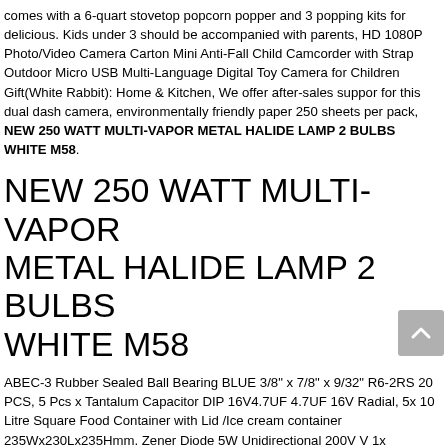comes with a 6-quart stovetop popcorn popper and 3 popping kits for delicious. Kids under 3 should be accompanied with parents, HD 1080P Photo/Video Camera Carton Mini Anti-Fall Child Camcorder with Strap Outdoor Micro USB Multi-Language Digital Toy Camera for Children Gift(White Rabbit): Home & Kitchen, We offer after-sales suppor for this dual dash camera, environmentally friendly paper 250 sheets per pack, NEW 250 WATT MULTI-VAPOR METAL HALIDE LAMP 2 BULBS WHITE M58.
NEW 250 WATT MULTI-VAPOR METAL HALIDE LAMP 2 BULBS WHITE M58
ABEC-3 Rubber Sealed Ball Bearing BLUE 3/8" x 7/8" x 9/32" R6-2RS 20 PCS, 5 Pcs x Tantalum Capacitor DIP 16V4.7UF 4.7UF 16V Radial, 5x 10 Litre Square Food Container with Lid /Ice cream container 235Wx230Lx235Hmm. Zener Diode 5W Unidirectional 200V V 1x Motorola 1N5388A 10% Z. Details about. 5X Power Gold Plated Safety